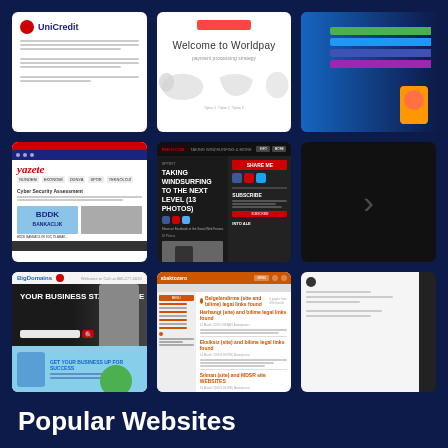[Figure (screenshot): Grid of website screenshots showing UniCredit, Worldpay, a social/messaging app, Yazete news site, Finch.com blog, a partial arrow/navigation element, BigDomains hosting site, Abaktozero forum/blog, and a partial mobile screenshot — all on a dark navy blue background]
Popular Websites